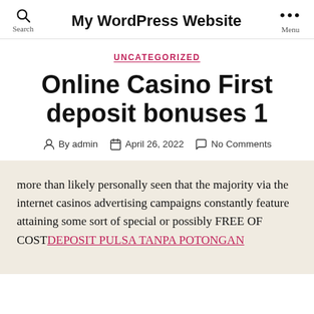My WordPress Website
UNCATEGORIZED
Online Casino First deposit bonuses 1
By admin   April 26, 2022   No Comments
more than likely personally seen that the majority via the internet casinos advertising campaigns constantly feature attaining some sort of special or possibly FREE OF COST DEPOSIT PULSA TANPA POTONGAN